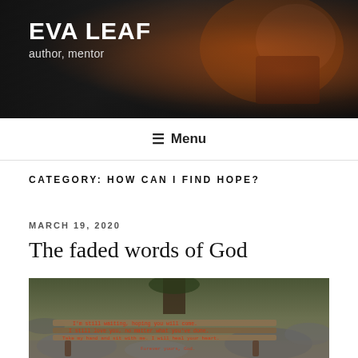EVA LEAF
author, mentor
Menu
CATEGORY: HOW CAN I FIND HOPE?
MARCH 19, 2020
The faded words of God
[Figure (photo): A wooden bench in a rocky forest setting with text written on it reading: I'm still waiting, hoping you will come. I still love you, no matter what you've done. Take my hand and sit with me. I will heal your heart. Forever yours, God.]